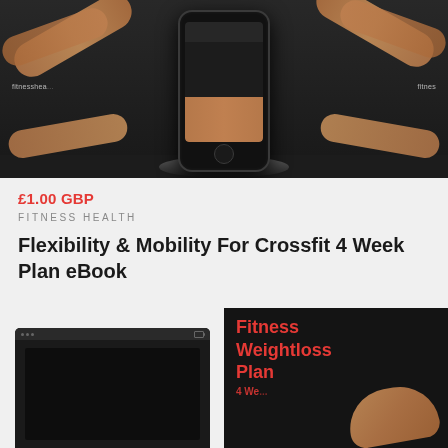[Figure (photo): Product mockup showing fitness/crossfit ebook displayed on tablet and smartphone devices against dark background with arms/hands visible]
£1.00 GBP
FITNESS HEALTH
Flexibility & Mobility For Crossfit 4 Week Plan eBook
[Figure (photo): Two product images side by side: left shows a dark tablet/device, right shows a book cover with red text reading Fitness Weightloss Plan with arm/body image]